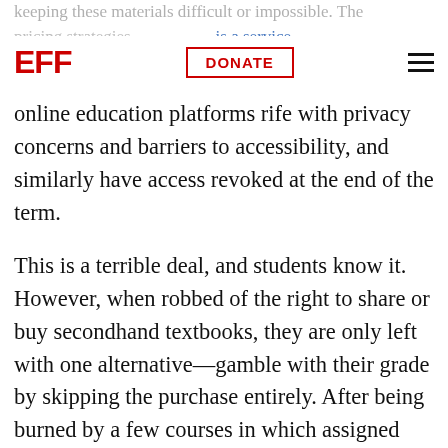keeping these materials difficult or impossible. The pricing strategies is a service where textbooks are replaced with paid access to
[Figure (logo): EFF (Electronic Frontier Foundation) logo in red]
DONATE
online education platforms rife with privacy concerns and barriers to accessibility, and similarly have access revoked at the end of the term.
This is a terrible deal, and students know it. However, when robbed of the right to share or buy secondhand textbooks, they are only left with one alternative—gamble with their grade by skipping the purchase entirely. After being burned by a few courses in which assigned texts are never used, or better materials can be found online, this starts to look like a sensible strategy. However, this can also backfire when exams and assignments are tailored to a particular text. Often it's the most vulnerable of students who are driven to take this gamble, and that perpetuates broader social inequities.